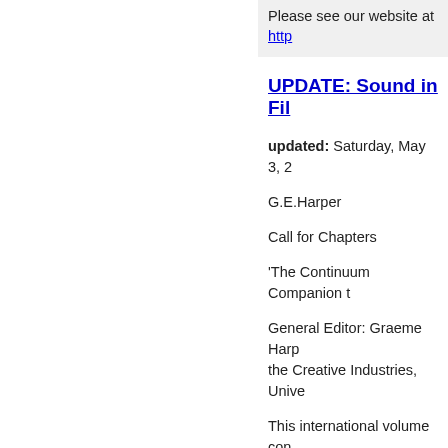Please see our website at http
UPDATE: Sound in Fil
updated: Saturday, May 3, 2
G.E.Harper
Call for Chapters
'The Continuum Companion t
General Editor: Graeme Harp the Creative Industries, Unive
This international volume con (www.continuumbooks.com) aspects of the above topic.
Some chapters have been co (below), and suggestions for c